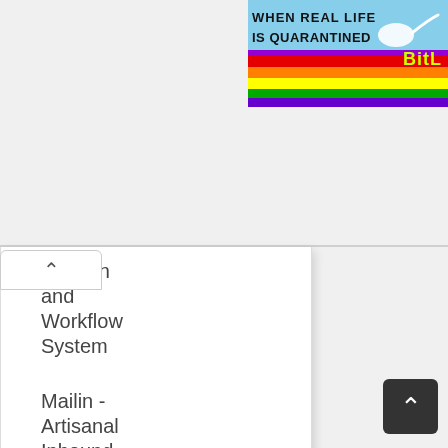[Figure (screenshot): Partial banner ad with rainbow colors and text 'WHEN REAL LIFE IS QUARANTINED' with 'BitL' logo on right, cut off at edge]
culation and Workflow System
Mailin - Artisanal Inbound Emails for Every Web App
WordPress
Mantine - A fully